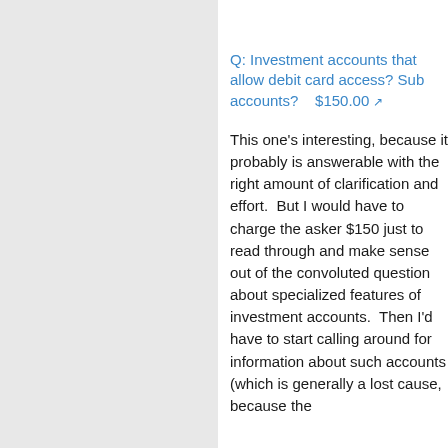Q: Investment accounts that allow debit card access? Sub accounts?    $150.00
This one's interesting, because it probably is answerable with the right amount of clarification and effort.  But I would have to charge the asker $150 just to read through and make sense out of the convoluted question about specialized features of investment accounts.  Then I'd have to start calling around for information about such accounts (which is generally a lost cause, because the